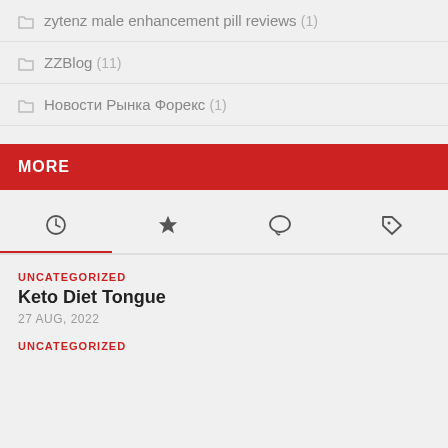zytenz male enhancement pill reviews (1)
ZZBlog (11)
Новости Рынка Форекс (1)
MORE
Tab icons: recent, starred, comments, tags
UNCATEGORIZED
Keto Diet Tongue
27 AUG, 2022
UNCATEGORIZED